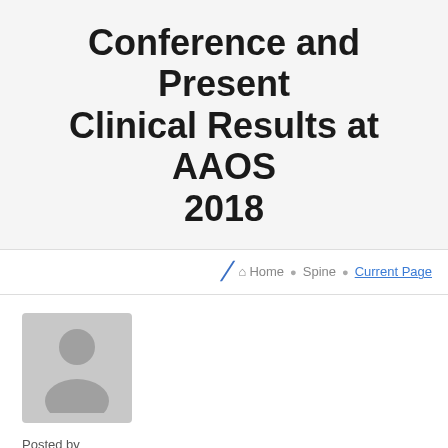Conference and Present Clinical Results at AAOS 2018
Home · Spine · Current Page
[Figure (illustration): Generic user avatar silhouette placeholder image with gray background]
Posted by
OrthoEx
Posted in
Spine
Posted on Mar 05, 2018